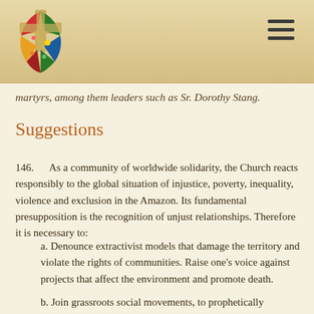martyrs, among them leaders such as Sr. Dorothy Stang.
Suggestions
146.      As a community of worldwide solidarity, the Church reacts responsibly to the global situation of injustice, poverty, inequality, violence and exclusion in the Amazon. Its fundamental presupposition is the recognition of unjust relationships. Therefore it is necessary to:
a. Denounce extractivist models that damage the territory and violate the rights of communities. Raise one's voice against projects that affect the environment and promote death.
b. Join grassroots social movements, to prophetically announce an agenda of agrarian